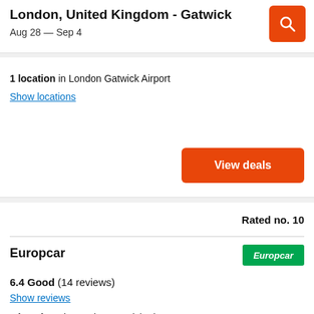London, United Kingdom - Gatwick
Aug 28 — Sep 4
1 location in London Gatwick Airport
Show locations
View deals
Rated no. 10
Europcar
[Figure (logo): Europcar company logo in green rectangle with white italic text]
6.4 Good (14 reviews)
Show reviews
2 locations in London Gatwick Airport
Show locations